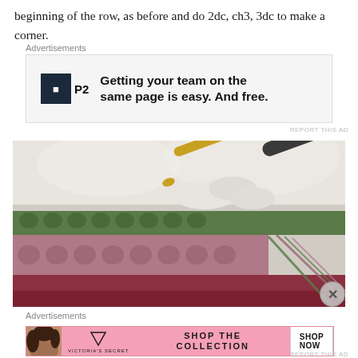beginning of the row, as before and do 2dc, ch3, 3dc to make a corner.
Advertisements
[Figure (screenshot): P2 advertisement banner: logo with dark square icon labeled P2, text reads 'Getting your team on the same page is easy. And free.']
REPORT THIS AD
[Figure (photo): Close-up photo of crochet work in progress with a gold and grey crochet hook. Rows of stitches in white/cream, green, mauve/pink, and dark red/burgundy colors are visible.]
Advertisements
[Figure (screenshot): Victoria's Secret advertisement banner in pink with model photo, VS logo, text 'SHOP THE COLLECTION', and 'SHOP NOW' button.]